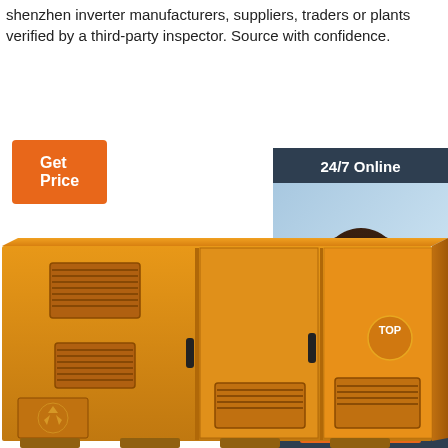shenzhen inverter manufacturers, suppliers, traders or plants verified by a third-party inspector. Source with confidence.
[Figure (other): Orange 'Get Price' button]
[Figure (other): 24/7 Online chat widget with a female customer service representative wearing a headset, dark blue background, 'Click here for free chat!' text, and orange 'QUOTATION' button]
[Figure (photo): Orange industrial diesel generator set, large cabinet-style enclosure with ventilation grilles and access doors]